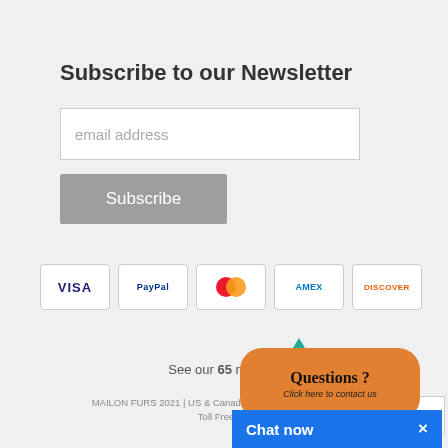Subscribe to our Newsletter
[Figure (screenshot): Email address input field with placeholder text 'email address' and a grey Subscribe button below]
[Figure (infographic): Payment method icons: VISA, PayPal, Mastercard, AMEX, Discover]
See our 65 reviews
MAILON FURS 2021 | US & Canada Toll Free 1-877-669-... | Toll Free 0...
[Figure (screenshot): Orange speech bubble overlay with text 'Questions ?' and 'Click here to contact us', and a blue 'Chat now' bar at the bottom]